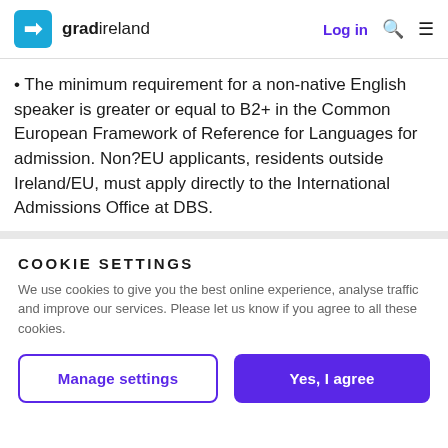gradireland  Log in
• The minimum requirement for a non-native English speaker is greater or equal to B2+ in the Common European Framework of Reference for Languages for admission. Non?EU applicants, residents outside Ireland/EU, must apply directly to the International Admissions Office at DBS.
COOKIE SETTINGS
We use cookies to give you the best online experience, analyse traffic and improve our services. Please let us know if you agree to all these cookies.
Manage settings  Yes, I agree